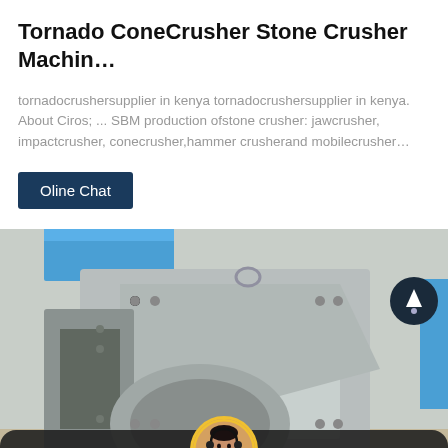Tornado ConeCrusher Stone Crusher Machin…
tornadocrushersupplier in kenya tornadocrushersupplier in kenya. About Ciros; ... SBM production ofstone crusher: jawcrusher, impactcrusher, conecrusher,hammer crusherand mobilecrusher…
Oline Chat
[Figure (photo): Close-up photo of a large industrial stone crusher machine painted grey, showing the jaw/impact mechanism, heavy metal plates with bolts, pulley belt drive system, and structural components. Blue accent elements visible at top. A circular scroll-up button overlay is visible at top right.]
Leave Message   Chat Online